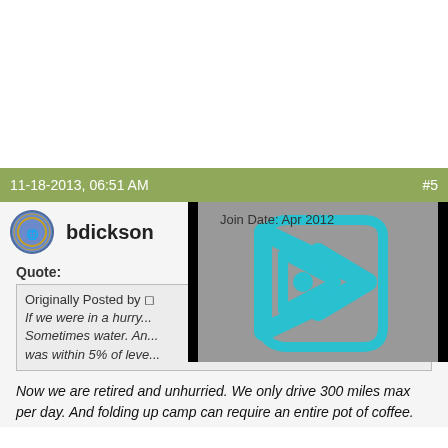11-18-2013, 06:51 AM    #5
bdickson
Join Date: Apr 2012
[Figure (screenshot): Video player overlay with cyan/blue triangular play-button logo on grey background with black borders]
Quote:
Originally Posted by ◻
If we were in a hurry...
Sometimes water. An...
was within 5% of leve...
Now we are retired and unhurried. We only drive 300 miles max per day. And folding up camp can require an entire pot of coffee.